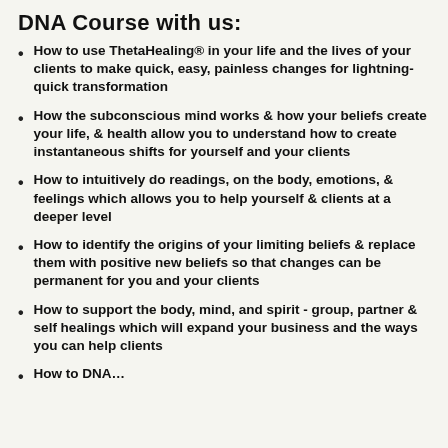DNA Course with us:
How to use ThetaHealing® in your life and the lives of your clients to make quick, easy, painless changes for lightning-quick transformation
How the subconscious mind works & how your beliefs create your life, & health allow you to understand how to create instantaneous shifts for yourself and your clients
How to intuitively do readings, on the body, emotions, & feelings which allows you to help yourself & clients at a deeper level
How to identify the origins of your limiting beliefs & replace them with positive new beliefs so that changes can be permanent for you and your clients
How to support the body, mind, and spirit - group, partner & self healings which will expand your business and the ways you can help clients
How to DNA…